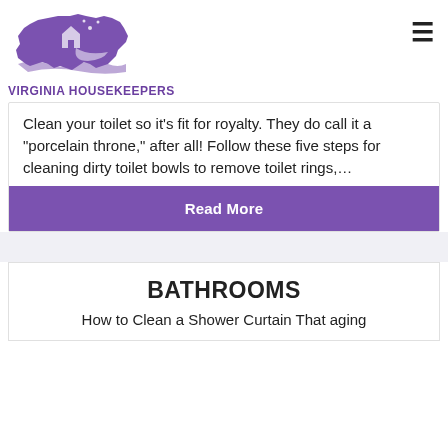[Figure (logo): Virginia Housekeepers logo with purple Virginia state silhouette containing a house and broom, with text VIRGINIA HOUSEKEEPERS below]
Clean your toilet so it’s fit for royalty. They do call it a “porcelain throne,” after all! Follow these five steps for cleaning dirty toilet bowls to remove toilet rings,…
Read More
BATHROOMS
How to Clean a Shower Curtain That aging